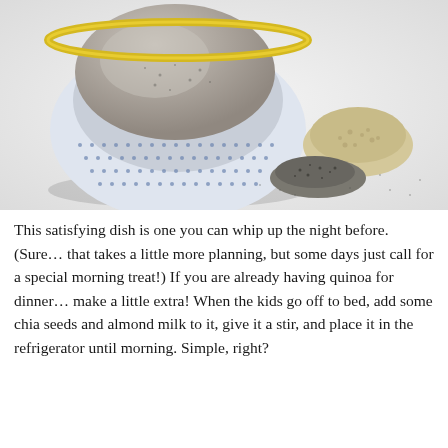[Figure (photo): A blue and white dotted bowl with yellow rim containing ground chia seed and quinoa flour mixture, with small piles of raw quinoa and chia seeds scattered on a white surface beside it.]
This satisfying dish is one you can whip up the night before. (Sure… that takes a little more planning, but some days just call for a special morning treat!) If you are already having quinoa for dinner… make a little extra! When the kids go off to bed, add some chia seeds and almond milk to it, give it a stir, and place it in the refrigerator until morning. Simple, right?